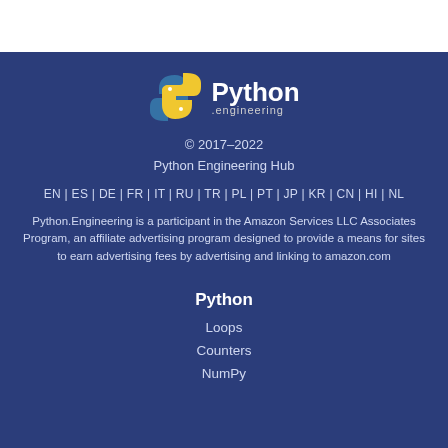[Figure (logo): Python Engineering Hub logo: Python snake icon with blue and yellow snake body, followed by 'Python .engineering' text in white]
© 2017–2022
Python Engineering Hub
EN | ES | DE | FR | IT | RU | TR | PL | PT | JP | KR | CN | HI | NL
Python.Engineering is a participant in the Amazon Services LLC Associates Program, an affiliate advertising program designed to provide a means for sites to earn advertising fees by advertising and linking to amazon.com
Python
Loops
Counters
NumPy